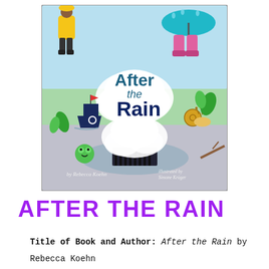[Figure (illustration): Book cover of 'After the Rain' showing colorful illustrated children in rain gear, boots, umbrella, a toy boat, a frog, snail, water splashing into a storm drain, with text 'After the Rain by Rebecca Koehn, illustrated by Simone Krüger']
AFTER THE RAIN
Title of Book and Author: After the Rain by Rebecca Koehn